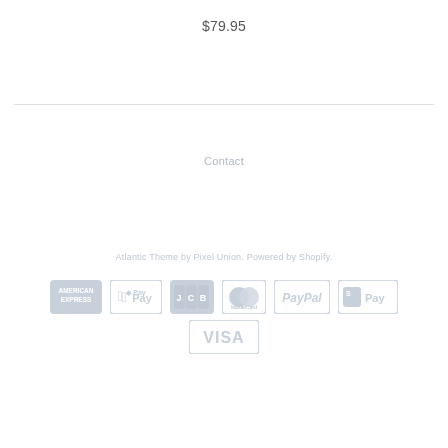$79.95
Contact
Atlantic Theme by Pixel Union. Powered by Shopify.
[Figure (logo): Payment method icons: American Express, Apple Pay, JCB, MasterCard, PayPal, Shopify Pay, VISA — all in light gray]